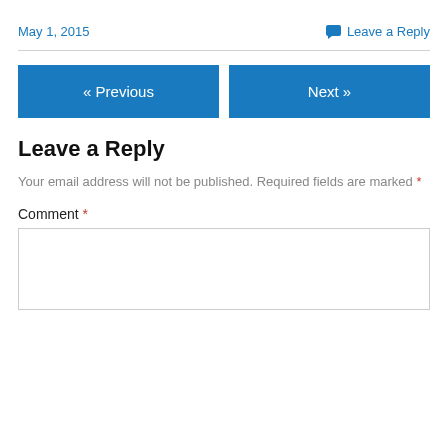May 1, 2015
Leave a Reply
« Previous
Next »
Leave a Reply
Your email address will not be published. Required fields are marked *
Comment *